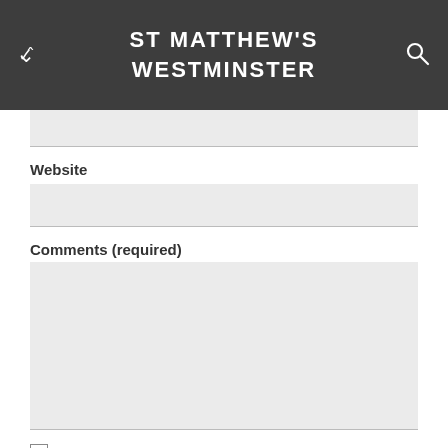ST MATTHEW'S WESTMINSTER
Website
Comments (required)
Notify me of new comments to this post by email